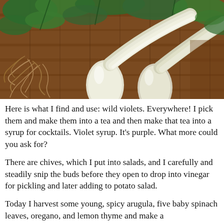[Figure (photo): Close-up photo of white elongated vegetables (likely spring onions or scallions) with roots and green leafy herbs on a wooden surface.]
Here is what I find and use: wild violets. Everywhere! I pick them and make them into a tea and then make that tea into a syrup for cocktails. Violet syrup. It's purple. What more could you ask for?
There are chives, which I put into salads, and I carefully and steadily snip the buds before they open to drop into vinegar for pickling and later adding to potato salad.
Today I harvest some young, spicy arugula, five baby spinach leaves, oregano, and lemon thyme and make a